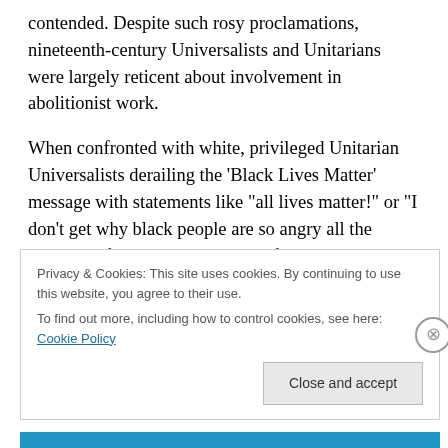contended. Despite such rosy proclamations, nineteenth-century Universalists and Unitarians were largely reticent about involvement in abolitionist work.
When confronted with white, privileged Unitarian Universalists derailing the 'Black Lives Matter' message with statements like "all lives matter!" or "I don't get why black people are so angry all the time," the first principle starts to feel like a lie. A deep dive into the archives of our Universalist and Unitarian ancestors—and of our nation's history—unearths a more profound explanation.
Privacy & Cookies: This site uses cookies. By continuing to use this website, you agree to their use.
To find out more, including how to control cookies, see here: Cookie Policy